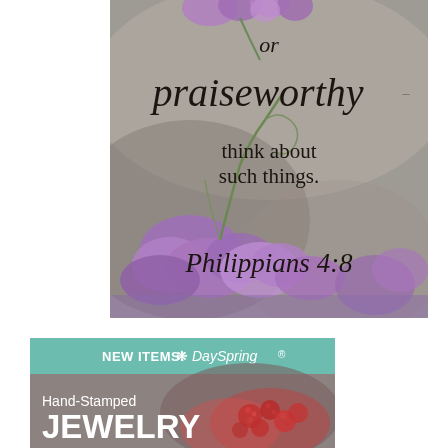[Figure (photo): Lavender flowers with scripture text overlay: 'or praiseworthy — think about such things. Philippians 4:8']
[Figure (photo): DaySpring NEW ITEMS banner featuring Hand-Stamped JEWELRY with red berries/raspberries photo background]